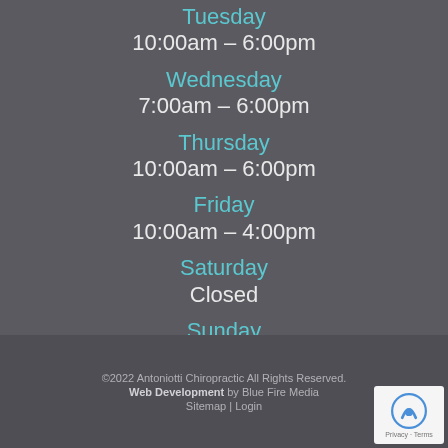Tuesday
10:00am – 6:00pm
Wednesday
7:00am – 6:00pm
Thursday
10:00am – 6:00pm
Friday
10:00am – 4:00pm
Saturday
Closed
Sunday
Closed
©2022 Antoniotti Chiropractic All Rights Reserved.
Web Development by Blue Fire Media
Sitemap | Login